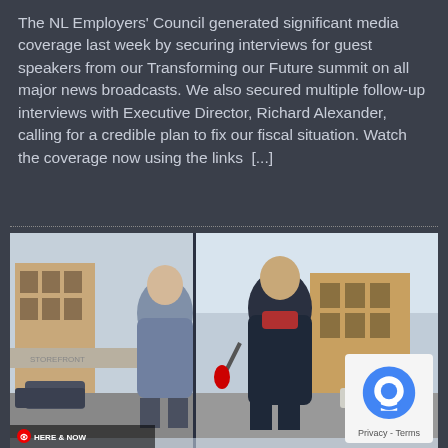The NL Employers' Council generated significant media coverage last week by securing interviews for guest speakers from our Transforming our Future summit on all major news broadcasts. We also secured multiple follow-up interviews with Executive Director, Richard Alexander, calling for a credible plan to fix our fiscal situation. Watch the coverage now using the links [...]
[Figure (photo): Two men in winter coats standing outside on a snowy street, appearing to be in a TV interview setting. A CBC 'HERE & NOW' lower-third graphic is visible at the bottom left. A reCAPTCHA privacy badge appears in the bottom right corner.]